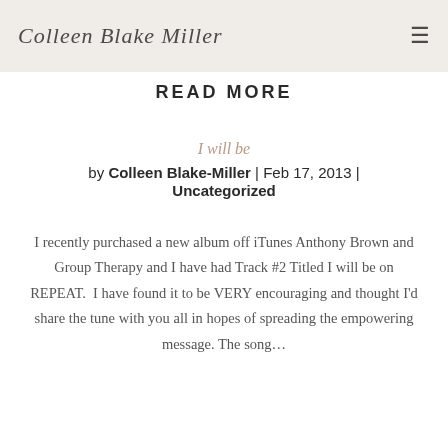Colleen Blake Miller
READ MORE
I will be
by Colleen Blake-Miller | Feb 17, 2013 | Uncategorized
I recently purchased a new album off iTunes Anthony Brown and Group Therapy and I have had Track #2 Titled I will be on REPEAT.  I have found it to be VERY encouraging and thought I'd share the tune with you all in hopes of spreading the empowering message. The song…